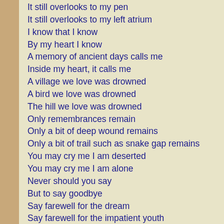It still overlooks to my pen
It still overlooks to my left atrium
I know that I know
By my heart I know
A memory of ancient days calls me
Inside my heart, it calls me
A village we love was drowned
A bird we love was drowned
The hill we love was drowned
Only remembrances remain
Only a bit of deep wound remains
Only a bit of trail such as snake gap remains
You may cry me I am deserted
You may cry me I am alone
Never should you say
But to say goodbye
Say farewell for the dream
Say farewell for the impatient youth
Say farewell to the juicy moment
Say farewell to poor beloved heart
****

Are you alive or dead?